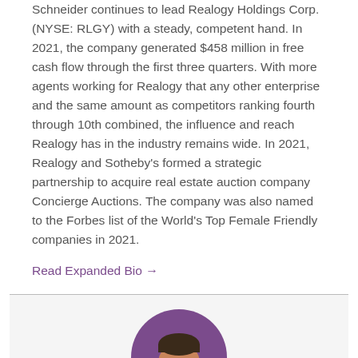Schneider continues to lead Realogy Holdings Corp. (NYSE: RLGY) with a steady, competent hand. In 2021, the company generated $458 million in free cash flow through the first three quarters. With more agents working for Realogy that any other enterprise and the same amount as competitors ranking fourth through 10th combined, the influence and reach Realogy has in the industry remains wide. In 2021, Realogy and Sotheby's formed a strategic partnership to acquire real estate auction company Concierge Auctions. The company was also named to the Forbes list of the World's Top Female Friendly companies in 2021.
Read Expanded Bio →
[Figure (photo): Portrait photo of a man with dark hair, shown from shoulders up, set against a purple circular background on a light gray section.]